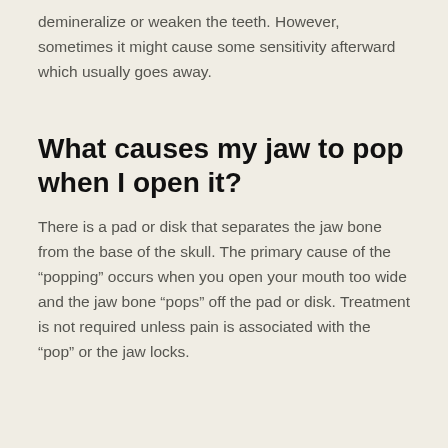demineralize or weaken the teeth. However, sometimes it might cause some sensitivity afterward which usually goes away.
What causes my jaw to pop when I open it?
There is a pad or disk that separates the jaw bone from the base of the skull. The primary cause of the “popping” occurs when you open your mouth too wide and the jaw bone “pops” off the pad or disk. Treatment is not required unless pain is associated with the “pop” or the jaw locks.